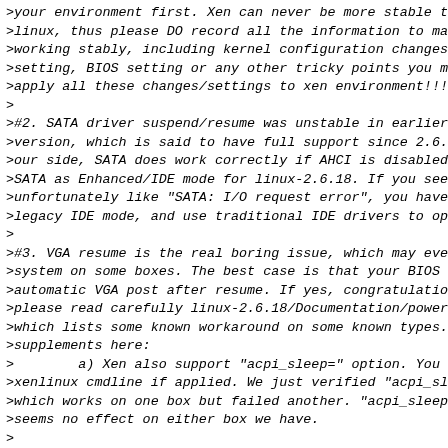>your environment first. Xen can never be more stable t
>linux, thus please DO record all the information to ma
>working stably, including kernel configuration changes
>setting, BIOS setting or any other tricky points you m
>apply all these changes/settings to xen environment!!!
>
>#2. SATA driver suspend/resume was unstable in earlier
>version, which is said to have full support since 2.6.
>our side, SATA does work correctly if AHCI is disabled
>SATA as Enhanced/IDE mode for linux-2.6.18. If you see
>unfortunately like "SATA: I/O request error", you have
>legacy IDE mode, and use traditional IDE drivers to op
>
>#3. VGA resume is the real boring issue, which may eve
>system on some boxes. The best case is that your BIOS
>automatic VGA post after resume. If yes, congratulatio
>please read carefully linux-2.6.18/Documentation/power
>which lists some known workaround on some known types.
>supplements here:
>        a) Xen also support "acpi_sleep=" option. You c
>xenlinux cmdline if applied. We just verified "acpi_sl
>which works on one box but failed another. "acpi_sleep
>seems no effect on either box we have.
>
>        b) On some boxes, VGA post have to be done in U
>xen, it means UP-xenlinux), or else system may crash.
>choice if applying to your box, since bios call is don
>Or else in case you have to use "vbetool post" from us
>possible workaround is to manual unplug other cpus bef
>and re-plug them after VGA is resumed by: